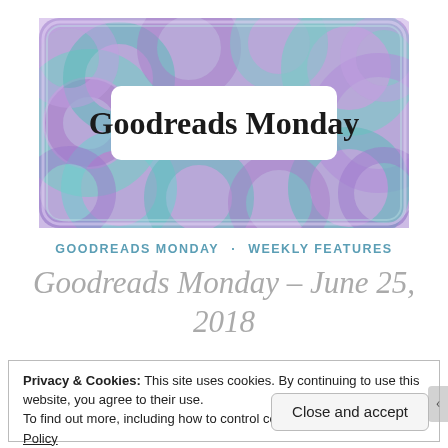[Figure (illustration): Goodreads Monday banner logo with decorative mandala pattern background in purple and teal, with white rounded rectangle in center containing 'Goodreads Monday' in bold serif font]
GOODREADS MONDAY · WEEKLY FEATURES
Goodreads Monday – June 25, 2018
Privacy & Cookies: This site uses cookies. By continuing to use this website, you agree to their use.
To find out more, including how to control cookies, see here: Cookie Policy
Close and accept